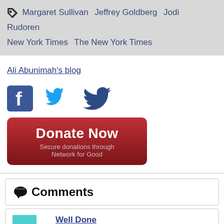Margaret Sullivan   Jeffrey Goldberg   Jodi Rudoren   New York Times   The New York Times
Ali Abunimah's blog
[Figure (other): Facebook and Twitter social share icons]
[Figure (other): Donate Now button - Secure donations through Network for Good]
Comments
Well Done
Ali J. replied on Wed, 11/28/2012 - 20:54
Well done Ali, you do a great thing, and them trying to